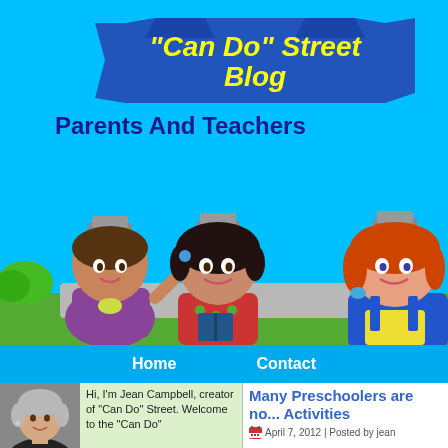"Can Do" Street Blog
Parents And Teachers
[Figure (illustration): Three cartoon children characters standing on a street with bubbles, green grass and road background. The children have robot-like tops on their heads.]
Home   Contact
[Figure (photo): Photo of Jean Campbell, a middle-aged woman with short grey hair]
Hi, I'm Jean Campbell, creator of "Can Do" Street. Welcome to the "Can Do"
Many Preschoolers are no... Activities
April 7, 2012 | Posted by jean
Fin... avai...